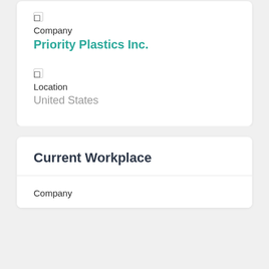Company
Priority Plastics Inc.
Location
United States
Current Workplace
Company